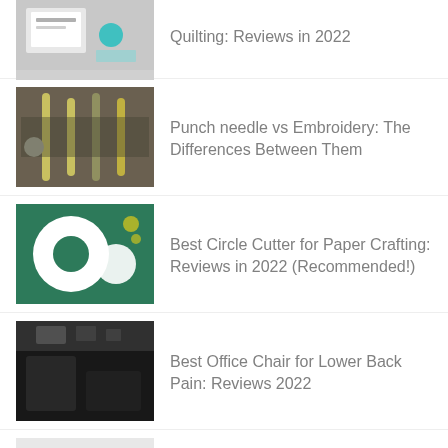Quilting: Reviews in 2022
Punch needle vs Embroidery: The Differences Between Them
Best Circle Cutter for Paper Crafting: Reviews in 2022 (Recommended!)
Best Office Chair for Lower Back Pain: Reviews 2022
Top 10 Best Thirty One Bag For Laptop in 2022
How To Quilt With A Sewing Machine: A Beginners’ Guide
Best Silhouette Machine: Reviews 2022